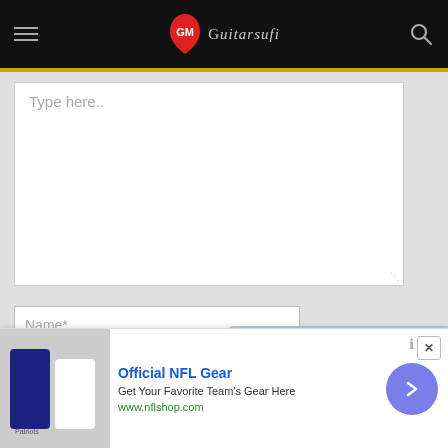GuitarSufi website header with hamburger menu, logo (GM Guitarsufi), and search icon
[Figure (screenshot): Comment/text input area with placeholder text 'Type here..' on a light grey background]
[Figure (screenshot): Name* input field]
[Figure (screenshot): Email* input field]
[Figure (screenshot): Website input field (partially visible)]
[Figure (screenshot): Popup card showing 'Woh Din Chords by Arijit' with thumbnail]
[Figure (screenshot): Advertisement banner: Official NFL Gear - Get Your Favorite Team's Gear Here - www.nflshop.com]